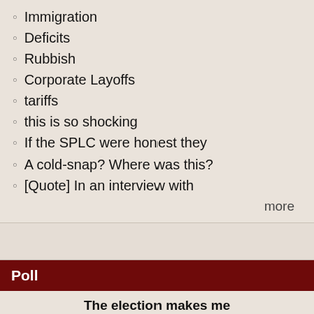Immigration
Deficits
Rubbish
Corporate Layoffs
tariffs
this is so shocking
If the SPLC were honest they
A cold-snap? Where was this?
[Quote] In an interview with
more
Poll
The election makes me
suicidal
ecstatic